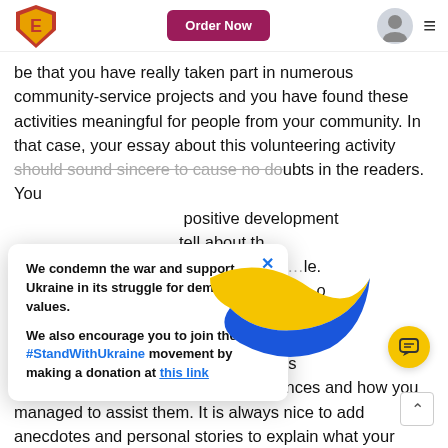Order Now
be that you have really taken part in numerous community-service projects and you have found these activities meaningful for people from your community. In that case, your essay about this volunteering activity should sound sincere to cause no doubts in the readers. You … positive development … tell about th … ence as memorable. … as possible to … ound like thou… of … ontent; instead, tell … or the homeless because of the unfortunate circumstances and how you managed to assist them. It is always nice to add anecdotes and personal stories to explain what your mission was in the volunteer work. Exclude all vague ideas and generalized, but sound sincere for an admission officer who is looking for
We condemn the war and support Ukraine in its struggle for democratic values.

We also encourage you to join the #StandWithUkraine movement by making a donation at this link